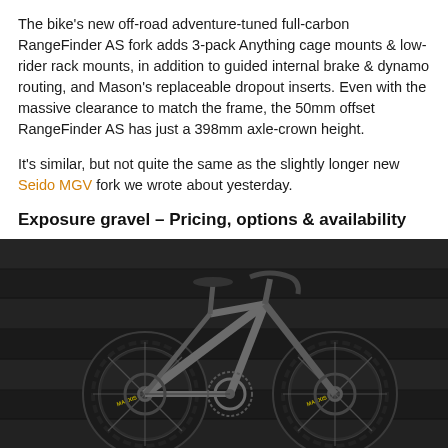The bike's new off-road adventure-tuned full-carbon RangeFinder AS fork adds 3-pack Anything cage mounts & low-rider rack mounts, in addition to guided internal brake & dynamo routing, and Mason's replaceable dropout inserts. Even with the massive clearance to match the frame, the 50mm offset RangeFinder AS has just a 398mm axle-crown height.
It's similar, but not quite the same as the slightly longer new Seido MGV fork we wrote about yesterday.
Exposure gravel – Pricing, options & availability
[Figure (photo): A gravel bicycle leaning against a dark wooden wall, viewed from the side. The bike has wide gravel tires with Maxxis branding, drop handlebars, disc brakes, and a titanium/gunmetal colored frame.]